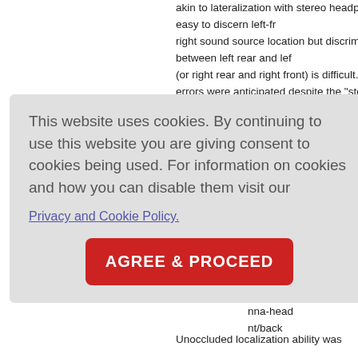akin to lateralization with stereo headphones: It is easy to discern left-from-right sound source location but discrimination between left rear and left front (or right rear and right front) is difficult. errors were anticipated despite the "ste..." sound provided by the HPDs because the ITD of sound to the tympanic membrane does not uniquely specify a location in space, only the right/left component. [15] ILD of sound is theoretically retained w... the cues ...uae are ...sults from ...aural elec ...ded for ...he earcup ...al acousti ...nna-head ...nt/back
This website uses cookies. By continuing to use this website you are giving consent to cookies being used. For information on cookies and how you can disable them visit our
Privacy and Cookie Policy.
AGREE & PROCEED
Unoccluded localization ability was